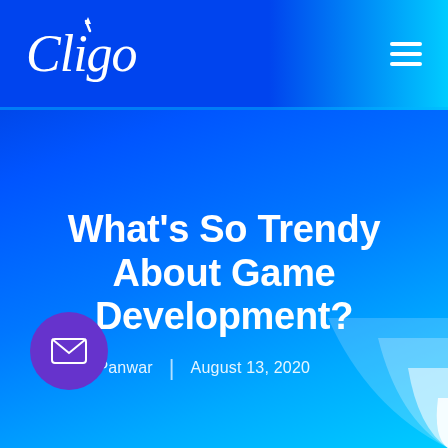[Figure (logo): Cligo brand logo in white cursive script on blue gradient navigation bar]
What’s So Trendy About Game Development?
Rajnish Panwar | August 13, 2020
[Figure (illustration): Purple circle email/envelope icon button]